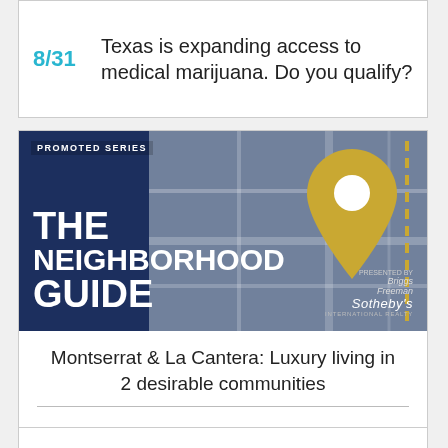8/31  Texas is expanding access to medical marijuana. Do you qualify?
[Figure (illustration): Promoted Series banner: THE NEIGHBORHOOD GUIDE, presented by Briggs Freeman Sotheby's International Realty, with map background and gold location pin]
Montserrat & La Cantera: Luxury living in 2 desirable communities
Overton Park: Great schools make this family-friendly neighborhood shine
Walnut Creek: Individuality defines this sought-after Mansfield neighborhood